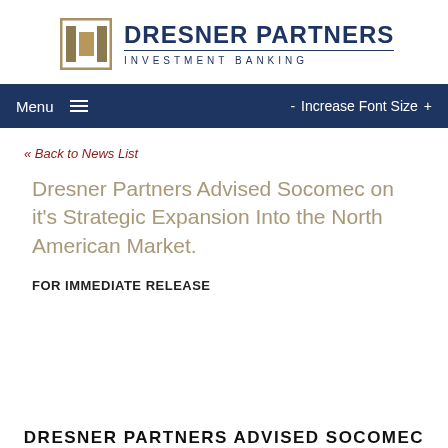[Figure (logo): Dresner Partners Investment Banking logo with geometric square icon in gold/tan tones and text in navy blue]
Menu  -  Increase Font Size  +
« Back to News List
Dresner Partners Advised Socomec on it's Strategic Expansion Into the North American Market.
FOR IMMEDIATE RELEASE
DRESNER PARTNERS ADVISED SOCOMEC